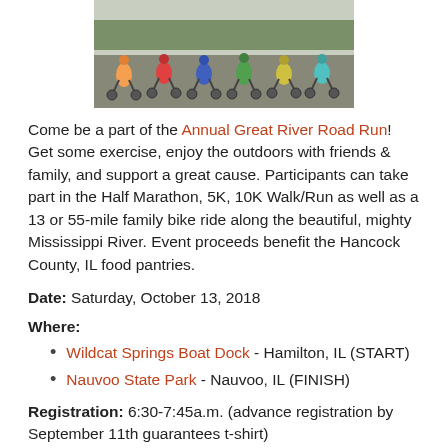[Figure (photo): Crowd of cyclists at the start of a race on a road, with trees in background]
Come be a part of the Annual Great River Road Run! Get some exercise, enjoy the outdoors with friends & family, and support a great cause. Participants can take part in the Half Marathon, 5K, 10K Walk/Run as well as a 13 or 55-mile family bike ride along the beautiful, mighty Mississippi River. Event proceeds benefit the Hancock County, IL food pantries.
Date: Saturday, October 13, 2018
Where:
Wildcat Springs Boat Dock - Hamilton, IL (START)
Nauvoo State Park - Nauvoo, IL (FINISH)
Registration: 6:30-7:45a.m. (advance registration by September 11th guarantees t-shirt)